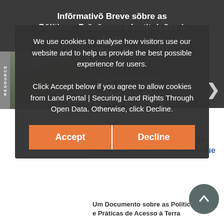Infõrmativõ Breve sõbre as Pŏlíticas, Prŏcĕssos e Instituições à Terra
Policy Papers & Briefs
Eastern Africa - Mozambique
Este documento informativo é baseado em projectos realizados recentemente em Moçambique, financiados pelo programa LEGEND do DFID, nas análises mais aprofundadas produzidas por esse
We use cookies to analyse how visitors use our website and to help us provide the best possible experience for users.

Click Accept below if you agree to allow cookies from Land Portal | Securing Land Rights Through Open Data. Otherwise, click Decline.
Accept
Decline
Posse e a Documentação dos Direitos à Terra em Moçambique
Um Documento sobre as Políticas e Práticas de Acesso à Terra
[Figure (photo): Thumbnail photo of a rural landscape with green fields, labeled RESOURCE on the side strip]